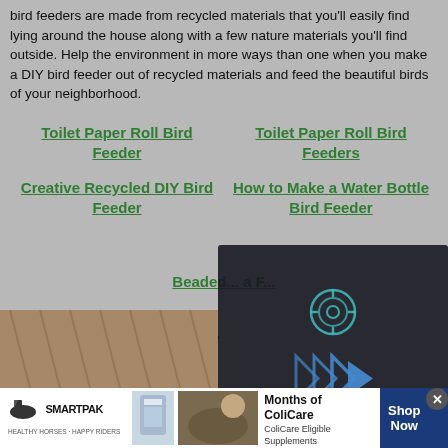bird feeders are made from recycled materials that you'll easily find lying around the house along with a few nature materials you'll find outside. Help the environment in more ways than one when you make a DIY bird feeder out of recycled materials and feed the beautiful birds of your neighborhood.
Toilet Paper Roll Bird Feeder
Toilet Paper Roll Bird Feeders
Creative Recycled DIY Bird Feeder
How to Make a Water Bottle Bird Feeder
Beaded ... a F...
Outdoor Bird Seed Or...
[Figure (screenshot): Video overlay with play button and mute icon on dark background]
[Figure (photo): Photo of bird feeder/seeds]
[Figure (screenshot): SmartPak advertisement: 50% Off Two Months of ColiCare, CODE: COLICARE10, Shop Now]